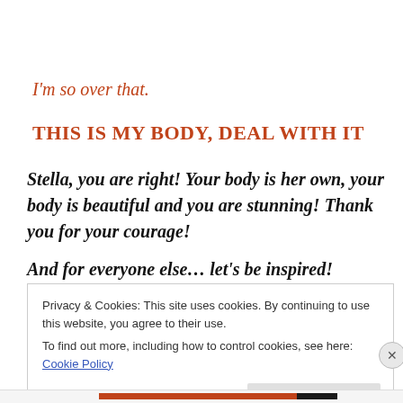I'm so over that.
THIS IS MY BODY, DEAL WITH IT
Stella, you are right! Your body is her own, your body is beautiful and you are stunning! Thank you for your courage!
And for everyone else… let's be inspired!
Privacy & Cookies: This site uses cookies. By continuing to use this website, you agree to their use.
To find out more, including how to control cookies, see here: Cookie Policy
Close and accept